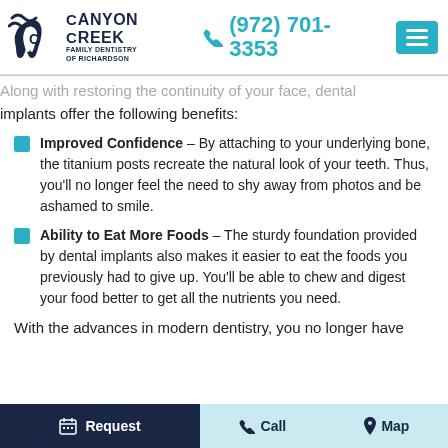[Figure (logo): Canyon Creek Family Dentistry of Richardson logo with phone number (972) 701-3353 and menu button]
Along with restoring the continuity of your face, dental implants offer the following benefits:
Improved Confidence – By attaching to your underlying bone, the titanium posts recreate the natural look of your teeth. Thus, you'll no longer feel the need to shy away from photos and be ashamed to smile.
Ability to Eat More Foods – The sturdy foundation provided by dental implants also makes it easier to eat the foods you previously had to give up. You'll be able to chew and digest your food better to get all the nutrients you need.
With the advances in modern dentistry, you no longer have
Request   Call   Map